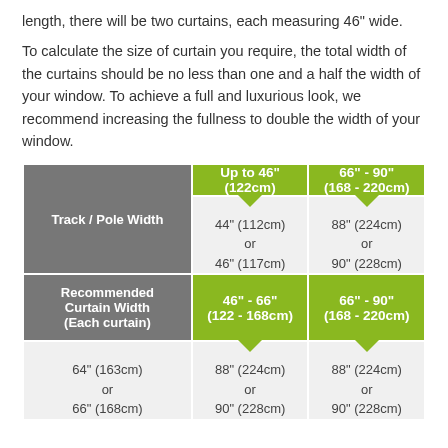length, there will be two curtains, each measuring 46" wide.
To calculate the size of curtain you require, the total width of the curtains should be no less than one and a half the width of your window. To achieve a full and luxurious look, we recommend increasing the fullness to double the width of your window.
| Track / Pole Width | Up to 46" (122cm) | 46" - 66" (122 - 168cm) | 66" - 90" (168 - 220cm) |
| --- | --- | --- | --- |
| Recommended Curtain Width (Each curtain) | 44" (112cm) or 46" (117cm) | 64" (163cm) or 66" (168cm) | 88" (224cm) or 90" (228cm) |